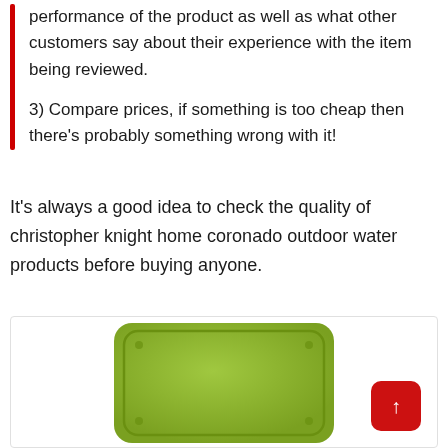performance of the product as well as what other customers say about their experience with the item being reviewed.
3) Compare prices, if something is too cheap then there's probably something wrong with it!
It's always a good idea to check the quality of christopher knight home coronado outdoor water products before buying anyone.
[Figure (photo): A green square outdoor throw pillow against a white background, partially cropped at the bottom of the page.]